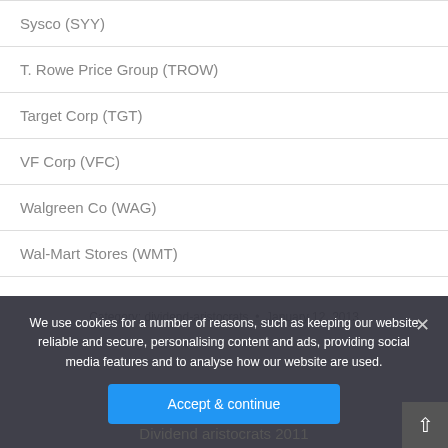Sysco (SYY)
T. Rowe Price Group (TROW)
Target Corp (TGT)
VF Corp (VFC)
Walgreen Co (WAG)
Wal-Mart Stores (WMT)
Category: dividend-aristocrats · January 12, 2013
We use cookies for a number of reasons, such as keeping our website reliable and secure, personalising content and ads, providing social media features and to analyse how our website are used.
Accept & continue
Dividend aristocrats 2011